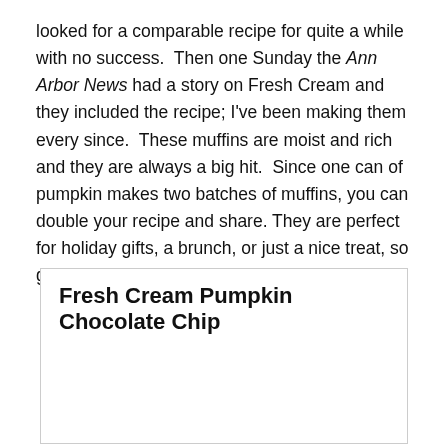looked for a comparable recipe for quite a while with no success. Then one Sunday the Ann Arbor News had a story on Fresh Cream and they included the recipe; I've been making them every since. These muffins are moist and rich and they are always a big hit. Since one can of pumpkin makes two batches of muffins, you can double your recipe and share. They are perfect for holiday gifts, a brunch, or just a nice treat, so give them a try.
Fresh Cream Pumpkin Chocolate Chip
Privacy & Cookies: This site uses cookies. By continuing to use this website, you agree to their use.
To find out more, including how to control cookies, see here: Cookie Policy